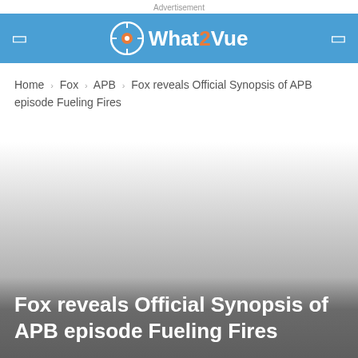Advertisement
What2Vue
Home › Fox › APB › Fox reveals Official Synopsis of APB episode Fueling Fires
[Figure (photo): Hero image area with gradient background, fading from white to gray]
Fox reveals Official Synopsis of APB episode Fueling Fires